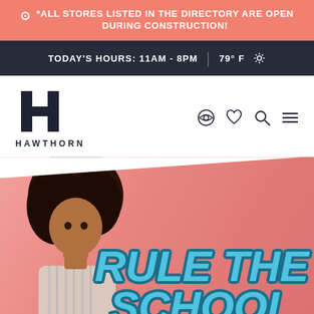*ALL STORES LISTED IN THE DIRECTORY ARE OPEN DURING CONSTRUCTION!
TODAY'S HOURS: 11AM - 8PM  |  79°F
[Figure (logo): Hawthorn mall logo — stylized H letterform with HAWTHORN wordmark below]
[Figure (screenshot): Navigation icons: eye/profile, heart/wishlist, search magnifier, hamburger menu]
[Figure (photo): Young girl with curly hair on pink background with 'RULE THE SCHOOL' text overlay in teal/cyan block letters]